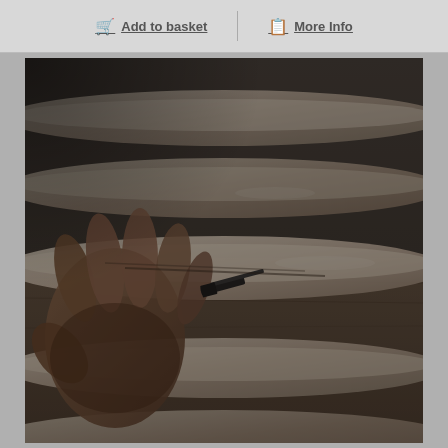Add to basket   |   More Info
[Figure (photo): Close-up photo of hands scoring unbaked bread dough (baguettes) on a wooden board with a small black lame/razor tool. Multiple long dough rolls are visible, dusted with flour. The image is dark and moody in tone.]